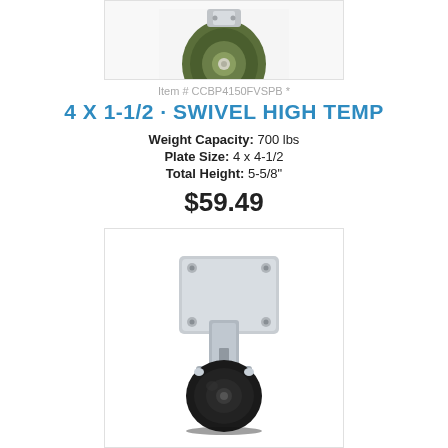[Figure (photo): Partial view of a green high-temp swivel caster wheel from above, showing the green polyurethane wheel and mounting hardware on a white/light gray background.]
Item # CCBP4150FVSPB *
4 X 1-1/2 · SWIVEL HIGH TEMP
Weight Capacity: 700 lbs
Plate Size: 4 x 4-1/2
Total Height: 5-5/8"
$59.49
[Figure (photo): A rigid plate caster with a black high-temp wheel and silver/zinc-plated steel mounting plate with four bolt holes, viewed from the side at a slight angle.]